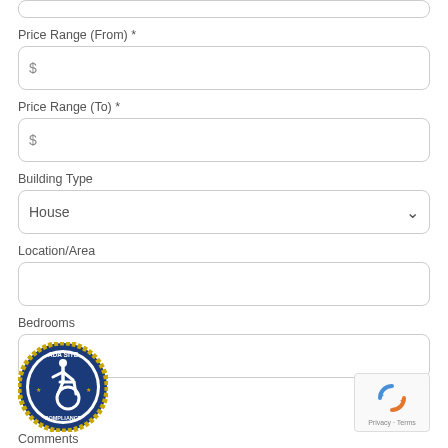[top input field - partial, cropped]
Price Range (From) *
$ [input field]
Price Range (To) *
$ [input field]
Building Type
House [dropdown]
Location/Area
[input field]
Bedrooms
[input field]
[Figure (logo): ADA Site Compliance circular badge with wheelchair accessibility icon, gold rope border, blue background]
[Figure (logo): Google reCAPTCHA widget showing reCAPTCHA logo and Privacy - Terms text]
Comments